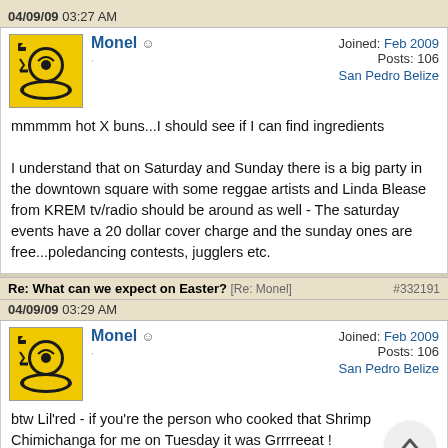04/09/09 03:27 AM
Monel · Joined: Feb 2009 Posts: 106 San Pedro Belize
mmmmm hot X buns...I should see if I can find ingredients

I understand that on Saturday and Sunday there is a big party in the downtown square with some reggae artists and Linda Blease from KREM tv/radio should be around as well - The saturday events have a 20 dollar cover charge and the sunday ones are free...poledancing contests, jugglers etc.
Re: What can we expect on Easter? [Re: Monel] #332191
04/09/09 03:29 AM
Monel · Joined: Feb 2009 Posts: 106 San Pedro Belize
btw Lil'red - if you're the person who cooked that Shrimp Chimichanga for me on Tuesday it was Grrrreeat !